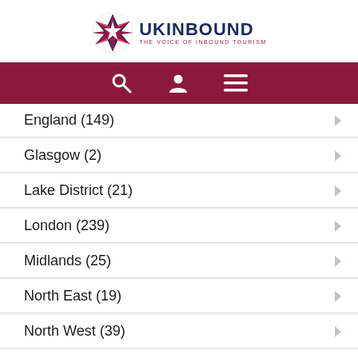UKinbound - The Voice of Inbound Tourism
England (149)
Glasgow (2)
Lake District (21)
London (239)
Midlands (25)
North East (19)
North West (39)
Northern Ireland (7)
Scotland (92)
South Coast (17)
South East (105)